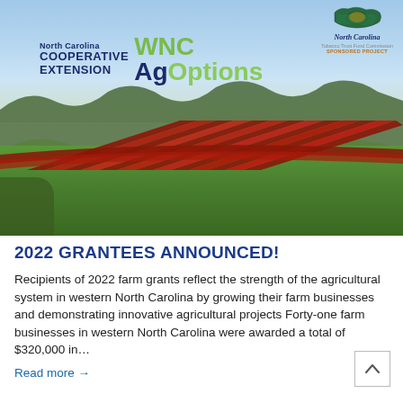[Figure (photo): Hero banner image showing WNC AgOptions / North Carolina Cooperative Extension logo overlaid on a mountain landscape with green fields, hills, and blue sky. Red striped design elements at bottom of logo area. North Carolina Tobacco Trust Fund Commission Sponsored Project badge in top right.]
2022 GRANTEES ANNOUNCED!
Recipients of 2022 farm grants reflect the strength of the agricultural system in western North Carolina by growing their farm businesses and demonstrating innovative agricultural projects Forty-one farm businesses in western North Carolina were awarded a total of $320,000 in...
Read more →